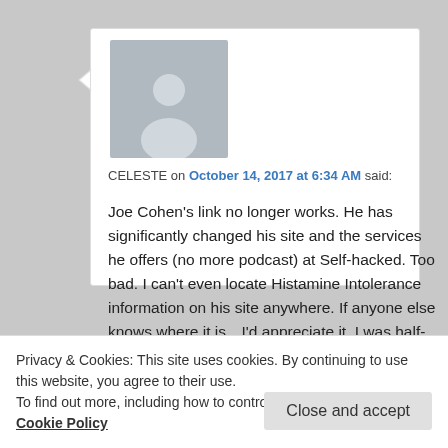[Figure (illustration): Gray placeholder avatar image showing a generic person silhouette]
CELESTE on October 14, 2017 at 6:34 AM said:
Joe Cohen's link no longer works. He has significantly changed his site and the services he offers (no more podcast) at Self-hacked. Too bad. I can't even locate Histamine Intolerance information on his site anywhere. If anyone else knows where it is…I'd appreciate it. I was half-way through the information when it disappeared. Thanks
Privacy & Cookies: This site uses cookies. By continuing to use this website, you agree to their use.
To find out more, including how to control cookies, see here: Cookie Policy